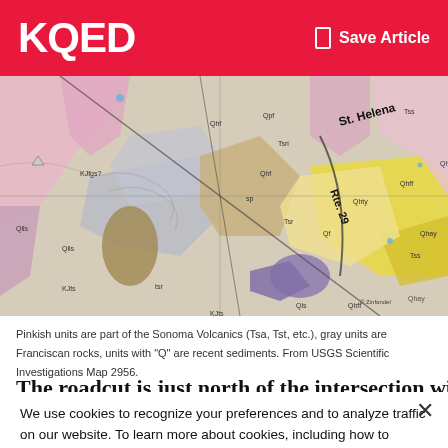KQED  Save Article
[Figure (map): Geological map of St. Helena area showing colored rock units including pinkish Sonoma Volcanics (Tsa, Tst, etc.), gray Franciscan rocks, and Q-prefix recent sediments. Labels include St. Helena, Rte. 29, KJfgs?, Qhf, Qpf, Qhff, Qhty, Tss, Tsr, Tsri, Qf, Qls, Qhay, Qlls, and others.]
Pinkish units are part of the Sonoma Volcanics (Tsa, Tst, etc.), gray units are Franciscan rocks, units with "Q" are recent sediments. From USGS Scientific Investigations Map 2956.
The roadcut is just north of the intersection with Lodi Lane:
We use cookies to recognize your preferences and to analyze traffic on our website. To learn more about cookies, including how to disable them, please view our Privacy Policy. By clicking “I Accept” or using our site, you are consenting to the use of cookies unless you disable them.
I Accept